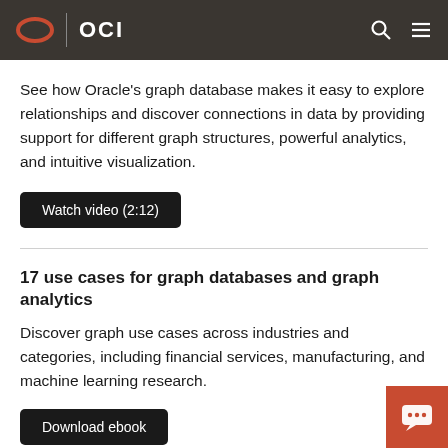OCI
See how Oracle's graph database makes it easy to explore relationships and discover connections in data by providing support for different graph structures, powerful analytics, and intuitive visualization.
Watch video (2:12)
17 use cases for graph databases and graph analytics
Discover graph use cases across industries and categories, including financial services, manufacturing, and machine learning research.
Download ebook